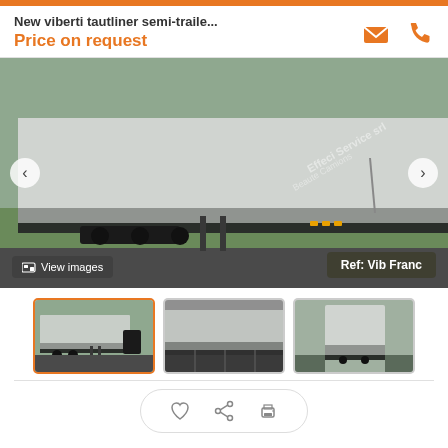New viberti tautliner semi-traile...
Price on request
[Figure (photo): Main large photo of a Viberti tautliner semi-trailer (curtainsider), showing the side view with silver curtain, undercarriage, and a black hydraulic lift mechanism on the right. Watermark reads 'Effeci Service srl Beaute Camions'. Navigation arrows and overlay labels visible.]
[Figure (photo): Thumbnail 1: Side view of the same Viberti tautliner semi-trailer, selected (orange border).]
[Figure (photo): Thumbnail 2: Close-up undercarriage/side view of the trailer.]
[Figure (photo): Thumbnail 3: Rear three-quarter view of the trailer on a road.]
New viberti tautliner semi-trailer 3 axles